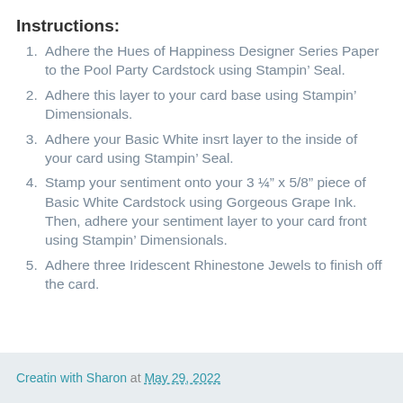Instructions:
Adhere the Hues of Happiness Designer Series Paper to the Pool Party Cardstock using Stampin’ Seal.
Adhere this layer to your card base using Stampin’ Dimensionals.
Adhere your Basic White insrt layer to the inside of your card using Stampin’ Seal.
Stamp your sentiment onto your 3 ¼” x 5/8” piece of Basic White Cardstock using Gorgeous Grape Ink. Then, adhere your sentiment layer to your card front using Stampin’ Dimensionals.
Adhere three Iridescent Rhinestone Jewels to finish off the card.
Creatin with Sharon at May 29, 2022